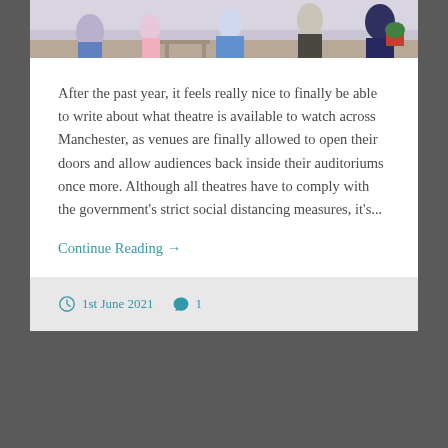[Figure (photo): Outdoor photo showing people, partially cropped at top of card]
After the past year, it feels really nice to finally be able to write about what theatre is available to watch across Manchester, as venues are finally allowed to open their doors and allow audiences back inside their auditoriums once more. Although all theatres have to comply with the government's strict social distancing measures, it's...
Continue Reading →
1st June 2021  1